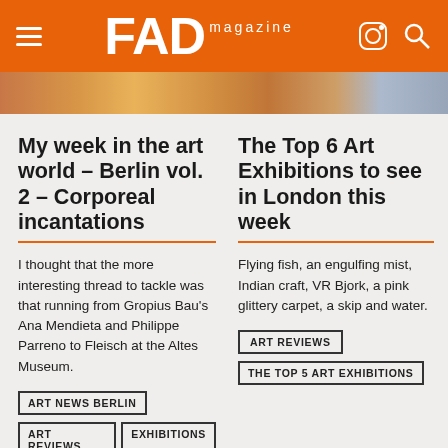FAD magazine
[Figure (photo): Color image strip showing art photography, warm orange tones]
My week in the art world – Berlin vol. 2 – Corporeal incantations
I thought that the more interesting thread to tackle was that running from Gropius Bau's Ana Mendieta and Philippe Parreno to Fleisch at the Altes Museum.
ART NEWS BERLIN
ART REVIEWS
EXHIBITIONS
The Top 6 Art Exhibitions to see in London this week
Flying fish, an engulfing mist, Indian craft, VR Bjork, a pink glittery carpet, a skip and water.
ART REVIEWS
THE TOP 5 ART EXHIBITIONS